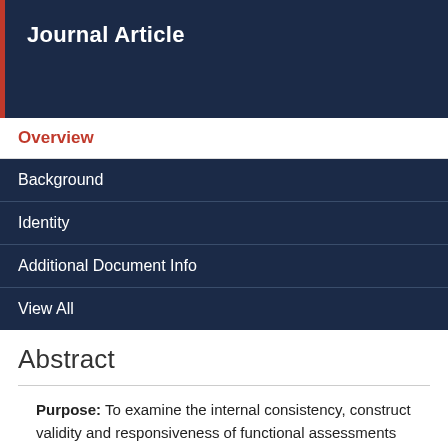Journal Article
Overview
Background
Identity
Additional Document Info
View All
Abstract
Purpose: To examine the internal consistency, construct validity and responsiveness of functional assessments tools when used with